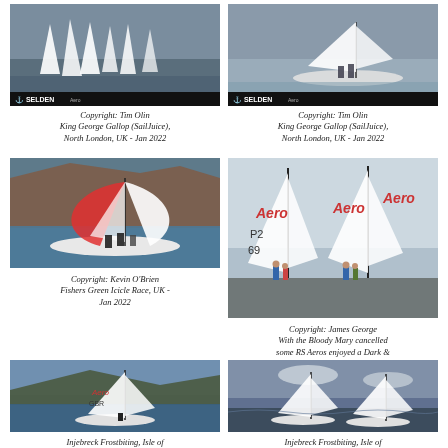[Figure (photo): Sailing race with multiple boats and white sails on grey water, Selden branding bar at bottom]
[Figure (photo): Two people in a sailing dinghy on grey water, Selden branding bar at bottom]
Copyright: Tim Olin
King George Gallop (SailJuice),
North London, UK - Jan 2022
Copyright: Tim Olin
King George Gallop (SailJuice),
North London, UK - Jan 2022
[Figure (photo): Sailors in a dinghy with large colourful spinnaker on blue water]
[Figure (photo): RS Aero sailors standing by boats with tall masts and red/white sails in marina]
Copyright: Kevin O'Brien
Fishers Green Icicle Race, UK -
Jan 2022
Copyright: James George
With the Bloody Mary cancelled some RS Aeros enjoyed a Dark & Stormy blast instead! - Jan 2022
[Figure (photo): RS Aero sailing alone on reservoir with hills in background]
[Figure (photo): Two RS Aero dinghies sailing on choppy water with cloudy sky]
Injebreck Frostbiting, Isle of
Injebreck Frostbiting, Isle of